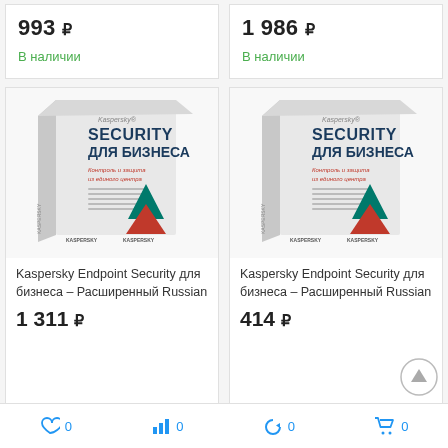993 ₽
В наличии
1 986 ₽
В наличии
[Figure (photo): Kaspersky Security для бизнеса product box left]
Kaspersky Endpoint Security для бизнеса – Расширенный Russian
1 311 ₽
[Figure (photo): Kaspersky Security для бизнеса product box right]
Kaspersky Endpoint Security для бизнеса – Расширенный Russian
414 ₽